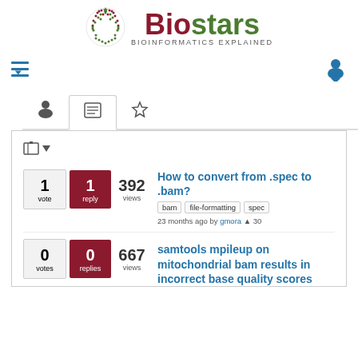[Figure (logo): Biostars logo with globe graphic and text 'BIOINFORMATICS EXPLAINED']
[Figure (screenshot): Navigation bar with hamburger menu icon and user profile icon in blue]
[Figure (screenshot): Tab bar with user icon, list icon (active tab), and star icon]
1 vote | 1 reply | 392 views
How to convert from .spec to .bam?
bam | file-formatting | spec | 23 months ago by gmora ▲ 30
0 votes | 0 replies | 667 views
samtools mpileup on mitochondrial bam results in incorrect base quality scores